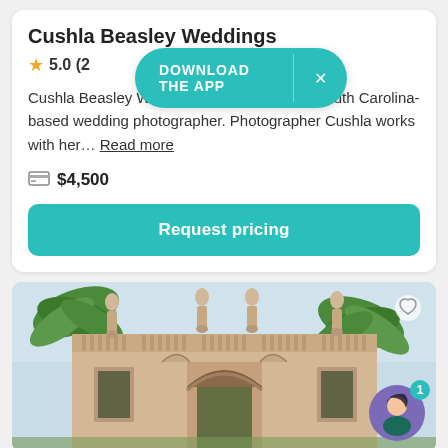Cushla Beasley Weddings
5.0
Cushla Beasley Weddings is a Charleston, South Carolina-based wedding photographer. Photographer Cushla works with her… Read more
$4,500
Request pricing
[Figure (photo): Exterior photo of a historic European-style estate or venue with ornate stone architecture, balustrade with classical statues along the roofline, arched gateway entrance, flanked by tall palm trees, with a couple visible through the gate]
DOWNLOAD THE APP